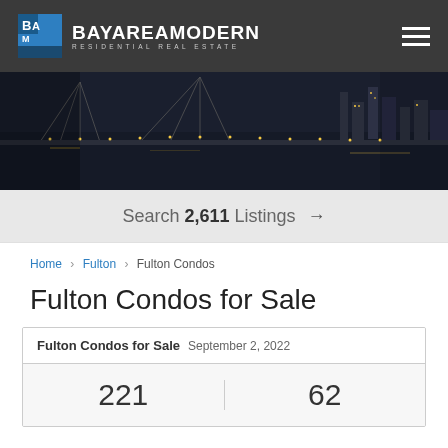BayAreaModern Residential Real Estate
[Figure (photo): Nighttime aerial photo of a bridge over a bay, city lights visible in background]
Search 2,611 Listings →
Home › Fulton › Fulton Condos
Fulton Condos for Sale
| Fulton Condos for Sale | September 2, 2022 |
| --- | --- |
| 221 | 62 |